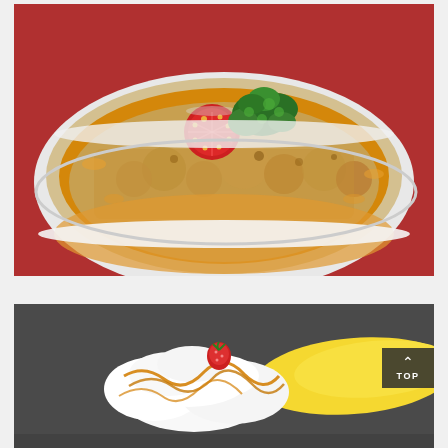[Figure (photo): A baked macaroni and cheese dish in a white oval casserole dish on a red tablecloth, topped with golden breadcrumbs, a halved cherry tomato, and fresh parsley garnish.]
[Figure (photo): A dessert with white cream/ice cream drizzled with caramel sauce on a dark plate, with strawberry garnish and a banana visible.]